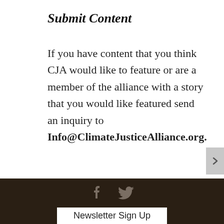Submit Content
If you have content that you think CJA would like to feature or are a member of the alliance with a story that you would like featured send an inquiry to Info@ClimateJusticeAlliance.org.
Designed by Story 2  Newsletter Sign Up